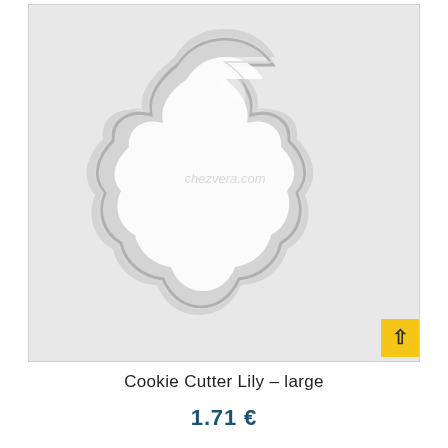[Figure (photo): A metal cookie cutter in the shape of a five-petaled lily/flower, photographed from above on a light gray background. The cutter is silver/stainless steel. A watermark reading 'chezvera.com' appears faintly in the center.]
Cookie Cutter Lily – large
1.71 €